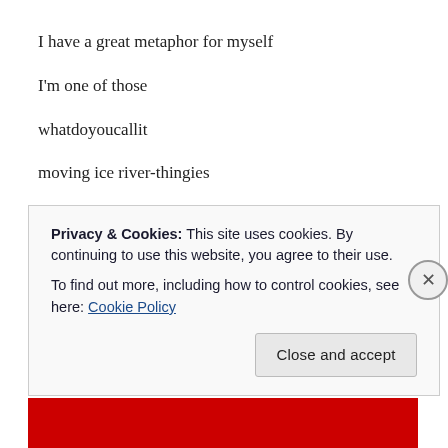I have a great metaphor for myself
I'm one of those
whatdoyoucallit
moving ice river-thingies
But then
the fact I can't remember the word that would be perfect
as a personal description
represents me more dramatically and accurately
than some cheaply painted prop
Privacy & Cookies: This site uses cookies. By continuing to use this website, you agree to their use.
To find out more, including how to control cookies, see here: Cookie Policy
Close and accept